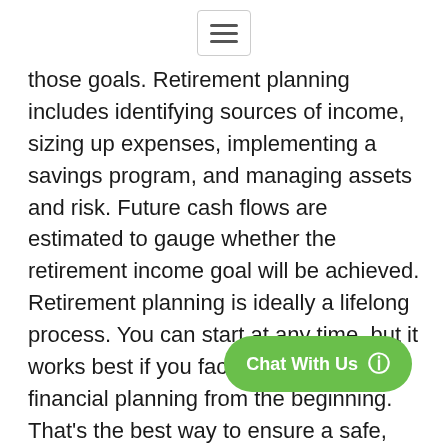[hamburger menu icon]
those goals. Retirement planning includes identifying sources of income, sizing up expenses, implementing a savings program, and managing assets and risk. Future cash flows are estimated to gauge whether the retirement income goal will be achieved. Retirement planning is ideally a lifelong process. You can start at any time, but it works best if you factor it into your financial planning from the beginning. That’s the best way to ensure a safe, secure—and fun—retirement. The fun part is why it makes sense to pay attention to the serious and perhaps boring part: planning how you’ll ge planning means preparing today for your
[Figure (other): Green 'Chat With Us' button with WhatsApp icon overlay in bottom-right corner]